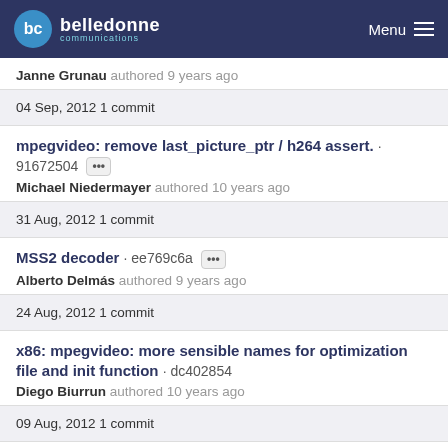belledonne communications Menu
Janne Grunau authored 9 years ago
04 Sep, 2012 1 commit
mpegvideo: remove last_picture_ptr / h264 assert. · 91672504
Michael Niedermayer authored 10 years ago
31 Aug, 2012 1 commit
MSS2 decoder · ee769c6a
Alberto Delmás authored 9 years ago
24 Aug, 2012 1 commit
x86: mpegvideo: more sensible names for optimization file and init function · dc402854
Diego Biurrun authored 10 years ago
09 Aug, 2012 1 commit
mpegvideo: convert mpegvideo_common.h to a .c file ·